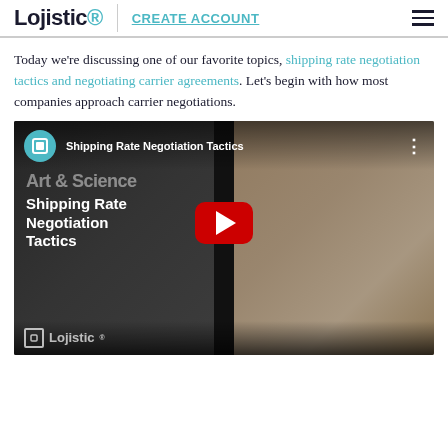Lojistic | CREATE ACCOUNT
Today we're discussing one of our favorite topics, shipping rate negotiation tactics and negotiating carrier agreements. Let's begin with how most companies approach carrier negotiations.
[Figure (screenshot): YouTube video thumbnail for 'Shipping Rate Negotiation Tactics' by Lojistic, showing a play button, video title overlay, and Lojistic branding.]